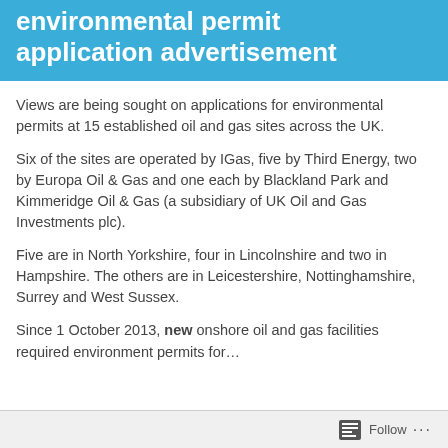environmental permit application advertisement
Views are being sought on applications for environmental permits at 15 established oil and gas sites across the UK.
Six of the sites are operated by IGas, five by Third Energy, two by Europa Oil & Gas and one each by Blackland Park and Kimmeridge Oil & Gas (a subsidiary of UK Oil and Gas Investments plc).
Five are in North Yorkshire, four in Lincolnshire and two in Hampshire. The others are in Leicestershire, Nottinghamshire, Surrey and West Sussex.
Since 1 October 2013, new onshore oil and gas facilities required environment permits for…
Follow ···